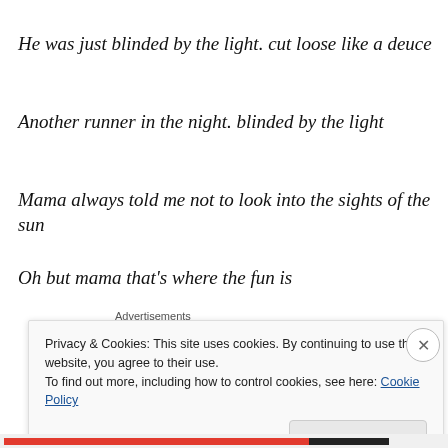He was just blinded by the light. cut loose like a deuce
Another runner in the night. blinded by the light
Mama always told me not to look into the sights of the sun
Oh but mama that's where the fun is
[Figure (illustration): Jetpack advertisement banner with green background, circular gradient shapes, and white Jetpack logo with lightning bolt icon]
Privacy & Cookies: This site uses cookies. By continuing to use this website, you agree to their use.
To find out more, including how to control cookies, see here: Cookie Policy